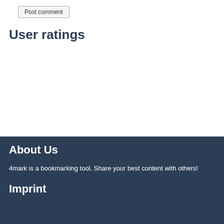Post comment
User ratings
About Us
4mark is a bookmarking tool. Share your best content with others!
Imprint